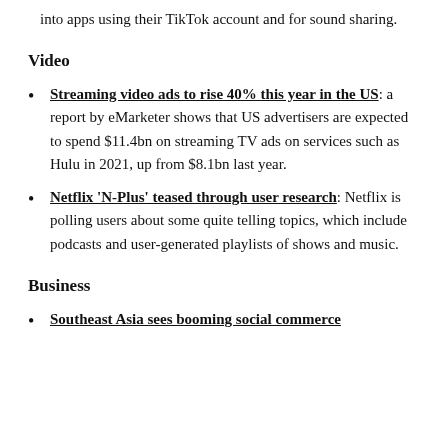into apps using their TikTok account and for sound sharing.
Video
Streaming video ads to rise 40% this year in the US: a report by eMarketer shows that US advertisers are expected to spend $11.4bn on streaming TV ads on services such as Hulu in 2021, up from $8.1bn last year.
Netflix 'N-Plus' teased through user research: Netflix is polling users about some quite telling topics, which include podcasts and user-generated playlists of shows and music.
Business
Southeast Asia sees booming social commerce